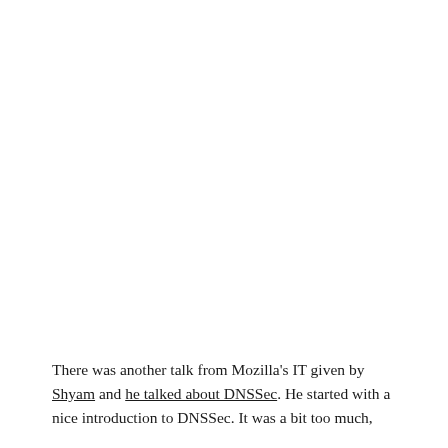There was another talk from Mozilla's IT given by Shyam and he talked about DNSSec. He started with a nice introduction to DNSSec. It was a bit too much,